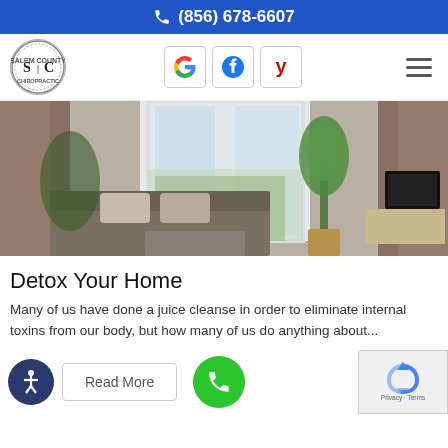(856) 678-6607
[Figure (logo): SC circular logo with decorative border]
[Figure (screenshot): Social media icon buttons: Google, Facebook, Yelp]
[Figure (photo): Modern living room interior with sofa, coffee table, curtains, plant, and TV]
Detox Your Home
Many of us have done a juice cleanse in order to eliminate internal toxins from our body, but how many of us do anything about...
Read More
[Figure (infographic): reCAPTCHA Privacy Terms badge]